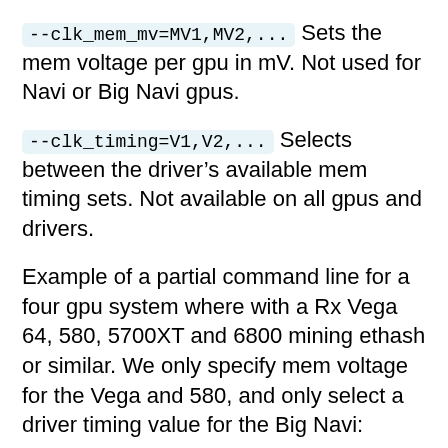--clk_mem_mv=MV1,MV2,... Sets the mem voltage per gpu in mV. Not used for Navi or Big Navi gpus.
--clk_timing=V1,V2,... Selects between the driver's available mem timing sets. Not available on all gpus and drivers.
Example of a partial command line for a four gpu system where with a Rx Vega 64, 580, 5700XT and 6800 mining ethash or similar. We only specify mem voltage for the Vega and 580, and only select a driver timing value for the Big Navi: